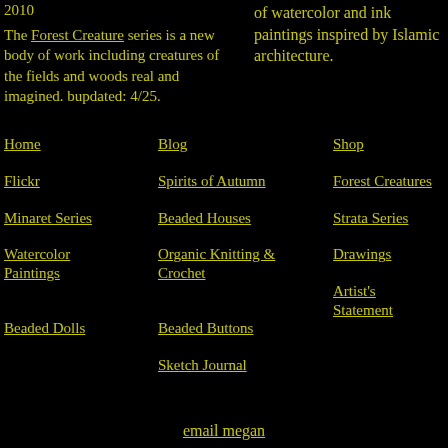2010
of watercolor and ink paintings inspired by Islamic architecture.
The Forest Creature series is a new body of work including creatures of the fields and woods real and imagined. bupdated: 4/25.
Home
Blog
Shop
Flickr
Spirits of Autumn
Forest Creatures
Minaret Series
Beaded Houses
Strata Series
Watercolor Paintings
Organic Knitting & Crochet
Drawings
Beaded Dolls
Beaded Buttons
Artist's Statement
Sketch Journal
email megan